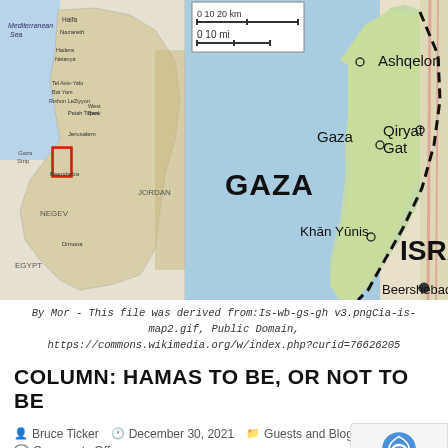[Figure (map): Map of Gaza Strip and surrounding regions of Israel, showing Gaza, Khān Yūnis, Ashqelon, Qiryat Gat, Beersheba, NEGEV, JORDAN, EGYPT labels. Left inset shows full map of Israel/Palestine region. Scale bar shows 0-10 mi. Green shaded area along coast indicates Gaza Strip with dashed border.]
By Mor - This file was derived from:Is-wb-gs-gh v3.pngCia-is-map2.gif, Public Domain, https://commons.wikimedia.org/w/index.php?curid=76626205
COLUMN: HAMAS TO BE, OR NOT TO BE
Bruce Ticker   December 30, 2021   Guests and Blogs
Comments Off
A few Hamas leaders fully expect Israel's downfall, yet Israel